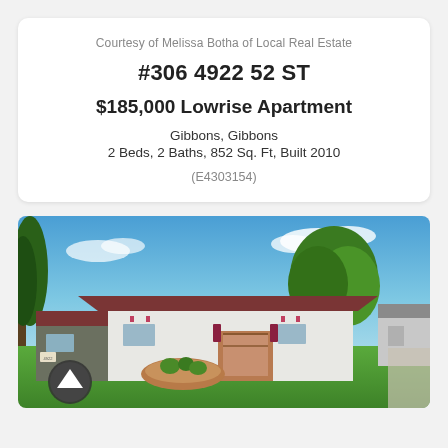Courtesy of Melissa Botha of Local Real Estate
#306 4922 52 ST
$185,000 Lowrise Apartment
Gibbons, Gibbons
2 Beds, 2 Baths, 852 Sq. Ft, Built 2010
(E4303154)
[Figure (photo): Exterior photo of a ranch-style home with a manicured green lawn, large trees, brown roof, white and dark wood siding, covered front porch with reddish-purple shutters, and a circular garden bed in front. Bright blue sky with light clouds. A circular scroll-up button is visible in the lower left corner.]